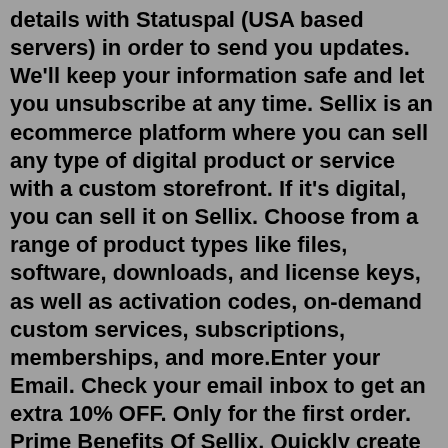details with Statuspal (USA based servers) in order to send you updates. We'll keep your information safe and let you unsubscribe at any time. Sellix is an ecommerce platform where you can sell any type of digital product or service with a custom storefront. If it's digital, you can sell it on Sellix. Choose from a range of product types like files, software, downloads, and license keys, as well as activation codes, on-demand custom services, subscriptions, memberships, and more.Enter your Email. Check your email inbox to get an extra 10% OFF. Only for the first order. Prime Benefits Of Sellix. Quickly create or edit your product on the dashboard by entering the details. Customize your storefront on Sellix to match your branding and style! Easily set up crypto integration by adding your crypto address for payouts and ...The first and best all-in-one discord nitro sniper available on the market. Velocity can reach nitro code claim speeds of less than 0.063 seconds! Purchase Checky. Invite checker ... Email Tokens . Accounts . Realistic username, email, profile picture. No captcha on first...